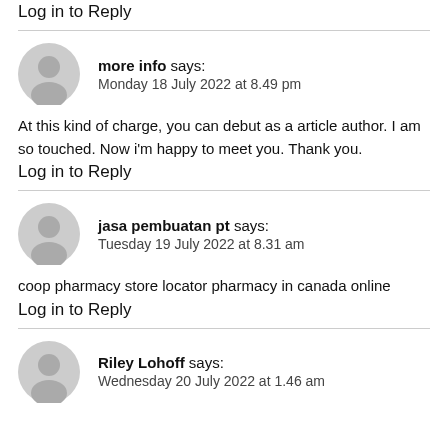Log in to Reply
more info says:
Monday 18 July 2022 at 8.49 pm
At this kind of charge, you can debut as a article author. I am so touched. Now i'm happy to meet you. Thank you.
Log in to Reply
jasa pembuatan pt says:
Tuesday 19 July 2022 at 8.31 am
coop pharmacy store locator pharmacy in canada online
Log in to Reply
Riley Lohoff says:
Wednesday 20 July 2022 at 1.46 am